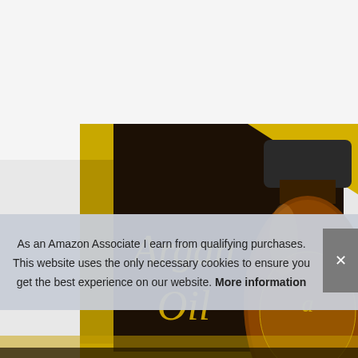[Figure (photo): Product photo of Argan Oil hair treatment box and bottle. Black and gold packaging with '20ml EXTRA FREE' yellow triangle badge. Amber glass bottle with dark cap next to the box.]
As an Amazon Associate I earn from qualifying purchases. This website uses the only necessary cookies to ensure you get the best experience on our website. More information